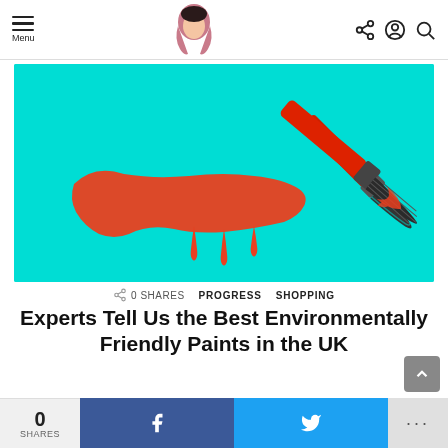Menu | [Logo] | Share | Account | Search
[Figure (photo): Red paint brush with red paint stroke on cyan/turquoise background]
0 SHARES   PROGRESS   SHOPPING
Experts Tell Us the Best Environmentally Friendly Paints in the UK
0 SHARES | Facebook | Twitter | ...